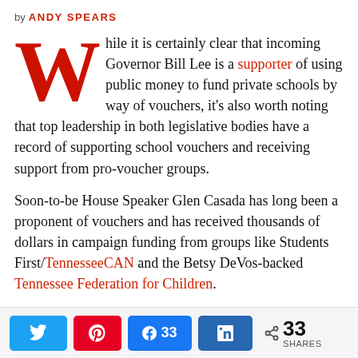by ANDY SPEARS
While it is certainly clear that incoming Governor Bill Lee is a supporter of using public money to fund private schools by way of vouchers, it's also worth noting that top leadership in both legislative bodies have a record of supporting school vouchers and receiving support from pro-voucher groups.
Soon-to-be House Speaker Glen Casada has long been a proponent of vouchers and has received thousands of dollars in campaign funding from groups like Students First/TennesseeCAN and the Betsy DeVos-backed Tennessee Federation for Children.
Likewise, newly-elected House Republican (and
33 SHARES (Twitter, Pinterest, Facebook 33, LinkedIn, Share)